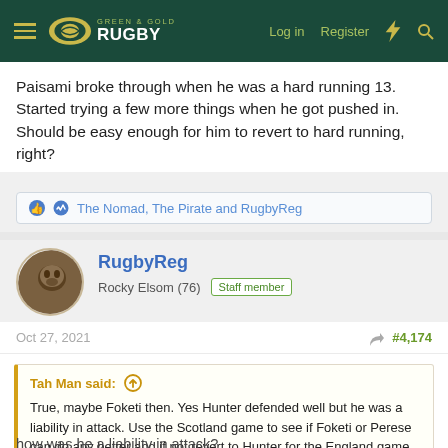Green & Gold Rugby — Log in | Register
Paisami broke through when he was a hard running 13. Started trying a few more things when he got pushed in. Should be easy enough for him to revert to hard running, right?
The Nomad, The Pirate and RugbyReg
RugbyReg
Rocky Elsom (76)  Staff member
Oct 27, 2021  #4,174
Tah Man said:  True, maybe Foketi then. Yes Hunter defended well but he was a liability in attack. Use the Scotland game to see if Foketi or Perese can do any better and if not revert to Hunter for the England game as you know what you are going to get
how was he a liability in attack?